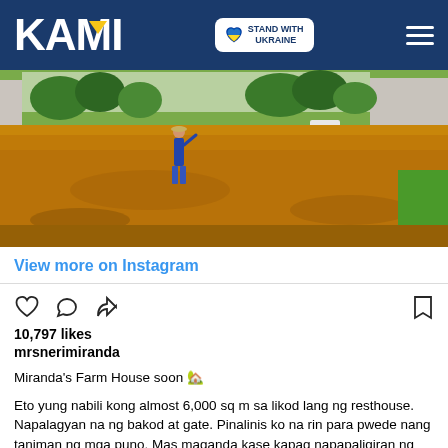KAMI | STAND WITH UKRAINE
[Figure (photo): A person standing in a large cleared orange/golden field with concrete walls in the background and trees beyond, viewed from behind. Farm land with dry golden ground cover.]
View more on Instagram
10,797 likes
mrsnerimiranda
Miranda's Farm House soon 🏡

Eto yung nabili kong almost 6,000 sq m sa likod lang ng resthouse. Napalagyan na ng bakod at gate. Pinalinis ko na rin para pwede nang taniman ng mga puno. Mas maganda kase kapag napapaligiran ng mga puno. Preskong presko! Tapos